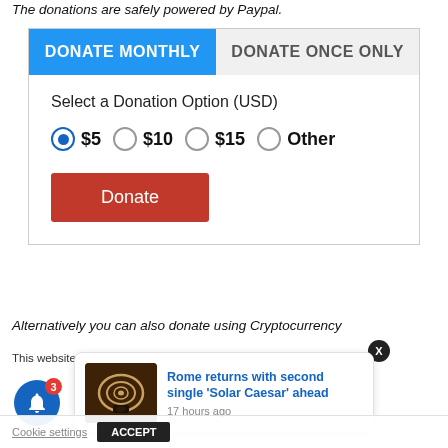The donations are safely powered by Paypal.
[Figure (screenshot): Donation widget with 'DONATE MONTHLY' and 'DONATE ONCE ONLY' tabs. 'DONATE MONTHLY' is selected (blue). Options: $5 (selected), $10, $15, Other. Red 'Donate' button.]
Alternatively you can also donate using Cryptocurrency
This website us... ume you're...
[Figure (screenshot): News popup card with image: 'Rome returns with second single Solar Caesar ahead', 17 hours ago. Close X button. Blue notification bell with badge 3.]
Cookie settings   ACCEPT